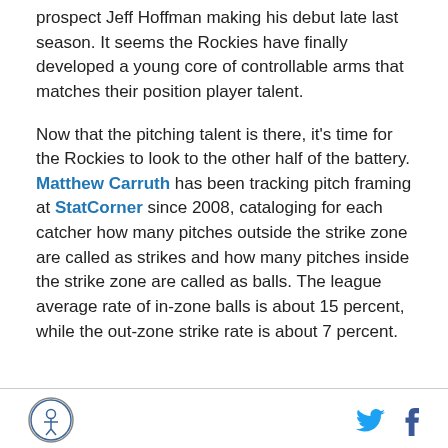prospect Jeff Hoffman making his debut late last season. It seems the Rockies have finally developed a young core of controllable arms that matches their position player talent.
Now that the pitching talent is there, it's time for the Rockies to look to the other half of the battery. Matthew Carruth has been tracking pitch framing at StatCorner since 2008, cataloging for each catcher how many pitches outside the strike zone are called as strikes and how many pitches inside the strike zone are called as balls. The league average rate of in-zone balls is about 15 percent, while the out-zone strike rate is about 7 percent.
[Figure (logo): Circular logo with figure icon in center]